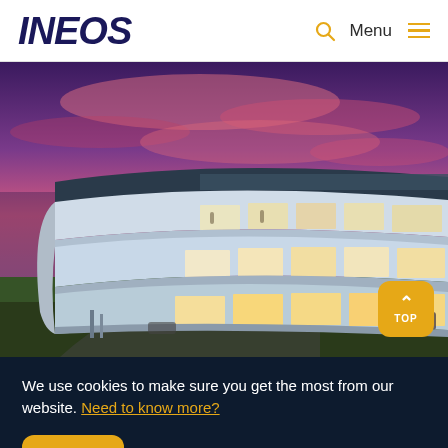INEOS  Menu
[Figure (photo): Aerial/exterior photo of a modern curved glass office building at dusk with a pink and purple sky. The multi-story building has large glass windows showing illuminated interior office spaces.]
We use cookies to make sure you get the most from our website. Need to know more?
OK